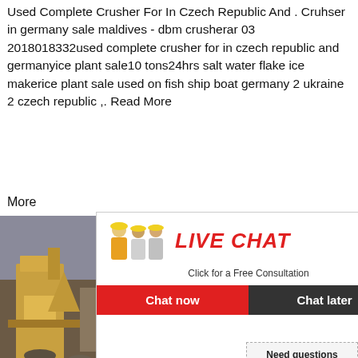Used Complete Crusher For In Czech Republic And . Cruhser in germany sale maldives - dbm crusherar 03 2018018332used complete crusher for in czech republic and germanyice plant sale10 tons24hrs salt water flake ice makerice plant sale used on fish ship boat germany 2 ukraine 2 czech republic ,. Read More
More
[Figure (photo): Photo of mining/crushing equipment at a site with yellow machinery and rock piles]
[Figure (screenshot): Live Chat popup overlay with workers in hard hats, 'LIVE CHAT' title in red italic, 'Click for a Free Consultation' subtitle, 'Chat now' and 'Chat later' buttons]
[Figure (photo): Customer service agent woman wearing a headset, smiling, with '24hrs Online' bar and 'Need questions & suggestion? Chat Now' box]
Ebay Jaw Rack Crusher China In Cz Used Complete Crusher For In Czech Re Germany. Used Crushers For Sale Masc republic 16 denmark 43 estonia 7 finland germany 26 ghana 1 greece 2 hungary 1 screening plant crushers south africa 252 parts lt1100 frame x 2 crushers 2008 sou